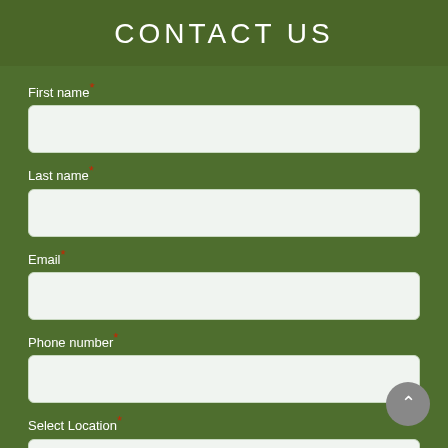CONTACT US
First name *
Last name *
Email *
Phone number *
Select Location *